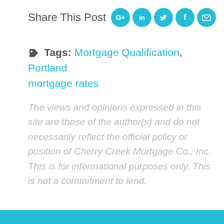Share This Post [social icons: Google+, LinkedIn, Twitter, Facebook, Email]
Tags: Mortgage Qualification, Portland mortgage rates
The views and opinions expressed in this site are those of the author(s) and do not necessarily reflect the official policy or position of Cherry Creek Mortgage Co., Inc. This is for informational purposes only. This is not a commitment to lend.
Leave a Comment
Older posts